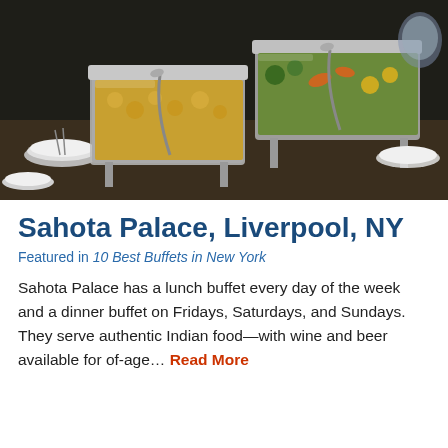[Figure (photo): Buffet food trays with chafing dishes filled with various foods including vegetables, potatoes, and other dishes on a dark wooden surface with plates visible]
Sahota Palace, Liverpool, NY
Featured in 10 Best Buffets in New York
Sahota Palace has a lunch buffet every day of the week and a dinner buffet on Fridays, Saturdays, and Sundays. They serve authentic Indian food—with wine and beer available for of-age... Read More